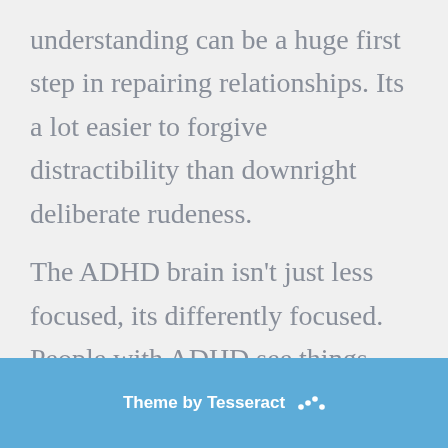understanding can be a huge first step in repairing relationships. Its a lot easier to forgive distractibility than downright deliberate rudeness.
The ADHD brain isn’t just less focused, its differently focused. People with ADHD see things differently, have different priorities and different needs.
Theme by Tesseract